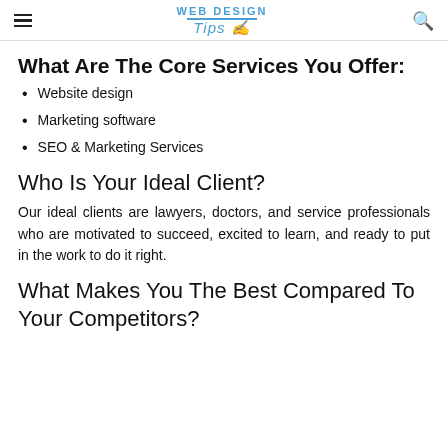WEB DESIGN Tips
What Are The Core Services You Offer:
Website design
Marketing software
SEO & Marketing Services
Who Is Your Ideal Client?
Our ideal clients are lawyers, doctors, and service professionals who are motivated to succeed, excited to learn, and ready to put in the work to do it right.
What Makes You The Best Compared To Your Competitors?